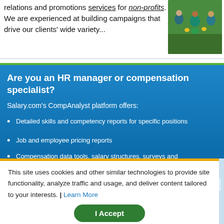relations and promotions services for non-profits. We are experienced at building campaigns that drive our clients' wide variety...
[Figure (photo): Group of people in teal shirts doing outdoor volunteer gardening/planting activity]
Are you an HR manager or compensation specialist?
Salary.com's CompAnalyst platform offers:
Detailed skills and competency reports for specific positions
Job and employee pricing reports
Compensation data tools, salary structures, surveys and benchmarks
This site uses cookies and other similar technologies to provide site functionality, analyze traffic and usage, and deliver content tailored to your interests. | Learn More
I Accept